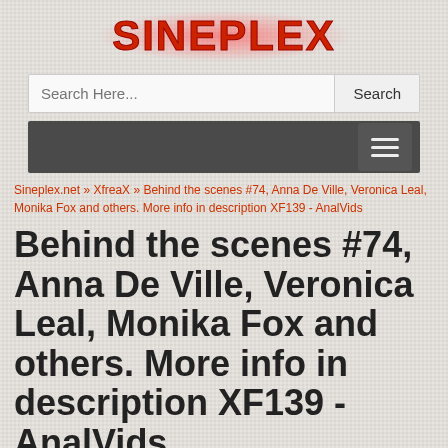SINEPLEX
Search Here...
[Figure (screenshot): Dark navigation bar with hamburger menu icon on the right]
Sineplex.net » XfreaX » Behind the scenes #74, Anna De Ville, Veronica Leal, Monika Fox and others. More info in description XF139 - AnalVids
Behind the scenes #74, Anna De Ville, Veronica Leal, Monika Fox and others. More info in description XF139 - AnalVids